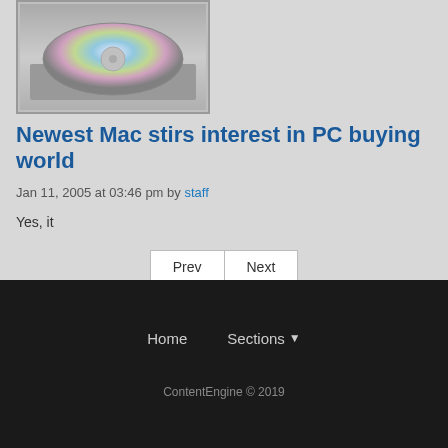[Figure (photo): Mac computer CD/DVD drive with a disc partially ejected, gray metallic background]
Newest Mac stirs interest in PC buying world
Jan 11, 2005 at 03:46 pm by staff
Yes, it
Prev  Next
Home  Sections  ContentEngine © 2019